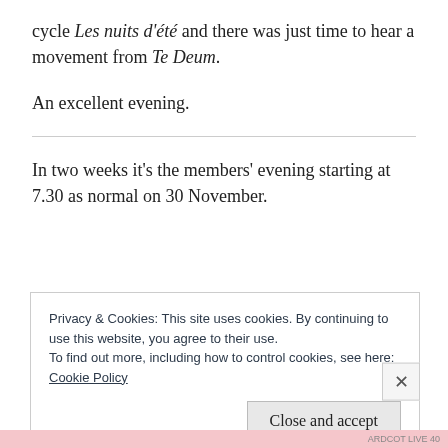cycle Les nuits d'été and there was just time to hear a movement from Te Deum.
An excellent evening.
In two weeks it's the members' evening starting at 7.30 as normal on 30 November.
Privacy & Cookies: This site uses cookies. By continuing to use this website, you agree to their use.
To find out more, including how to control cookies, see here:
Cookie Policy
Close and accept